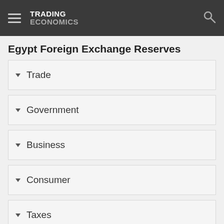TRADING ECONOMICS
Egypt Foreign Exchange Reserves
Trade
Government
Business
Consumer
Taxes
Climate
More Indicators